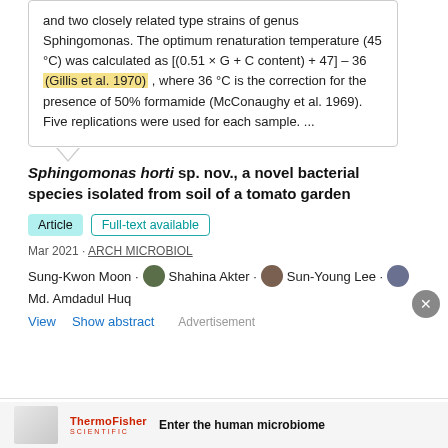and two closely related type strains of genus Sphingomonas. The optimum renaturation temperature (45 °C) was calculated as [(0.51 × G + C content) + 47] – 36 (Gillis et al. 1970) , where 36 °C is the correction for the presence of 50% formamide (McConaughy et al. 1969). Five replications were used for each sample. ...
Sphingomonas horti sp. nov., a novel bacterial species isolated from soil of a tomato garden
Article  Full-text available
Mar 2021 · ARCH MICROBIOL
Sung-Kwon Moon · Shahina Akter · Sun-Young Lee · Md. Amdadul Huq
View  Show abstract  Advertisement
[Figure (other): ThermoFisher Scientific advertisement banner with logo and text: Enter the human microbiome]